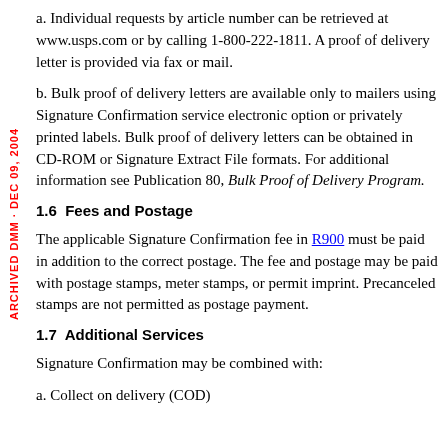a. Individual requests by article number can be retrieved at www.usps.com or by calling 1-800-222-1811. A proof of delivery letter is provided via fax or mail.
b. Bulk proof of delivery letters are available only to mailers using Signature Confirmation service electronic option or privately printed labels. Bulk proof of delivery letters can be obtained in CD-ROM or Signature Extract File formats. For additional information see Publication 80, Bulk Proof of Delivery Program.
1.6 Fees and Postage
The applicable Signature Confirmation fee in R900 must be paid in addition to the correct postage. The fee and postage may be paid with postage stamps, meter stamps, or permit imprint. Precanceled stamps are not permitted as postage payment.
1.7 Additional Services
Signature Confirmation may be combined with:
a. Collect on delivery (COD)